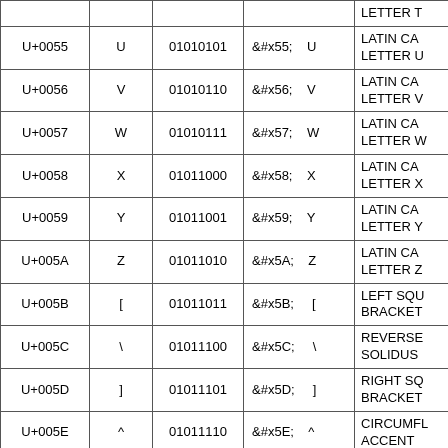| Code Point | Char | Binary | HTML Entity | Name |
| --- | --- | --- | --- | --- |
|  |  |  |  | LETTER T (truncated) |
| U+0055 | U | 01010101 | &#x55;  U | LATIN CA... LETTER U |
| U+0056 | V | 01010110 | &#x56;  V | LATIN CA... LETTER V |
| U+0057 | W | 01010111 | &#x57;  W | LATIN CA... LETTER W |
| U+0058 | X | 01011000 | &#x58;  X | LATIN CA... LETTER X |
| U+0059 | Y | 01011001 | &#x59;  Y | LATIN CA... LETTER Y |
| U+005A | Z | 01011010 | &#x5A;  Z | LATIN CA... LETTER Z |
| U+005B | [ | 01011011 | &#x5B;  [ | LEFT SQU... BRACKET |
| U+005C | \ | 01011100 | &#x5C;  \ | REVERSE SOLIDUS |
| U+005D | ] | 01011101 | &#x5D;  ] | RIGHT SQ... BRACKET |
| U+005E | ^ | 01011110 | &#x5E;  ^ | CIRCUMF... ACCENT |
| U+005F | _ | 01011111 | &#x5F;  _ | LOW LINE |
| U+0060 | ` | 01100000 | &#x60;  ` | GRAVE AC... |
|  |  |  |  | LATIN SM... |